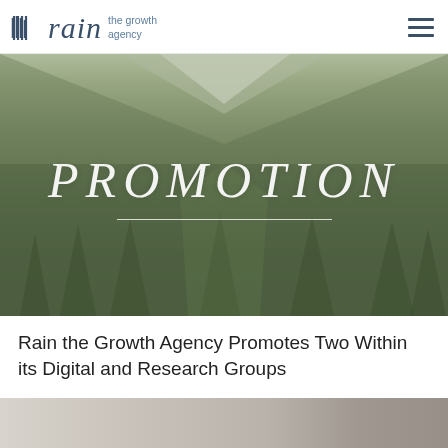rain the growth agency
[Figure (photo): Aerial/landscape photo of a mountain with snow-capped peak and dense conifer forest in foreground, overlaid with italic text 'PROMOTION' and a horizontal rule, in muted green tones]
Rain the Growth Agency Promotes Two Within its Digital and Research Groups
[Figure (photo): Partial bottom strip showing a blurred/cropped photo with neutral beige and gray tones]